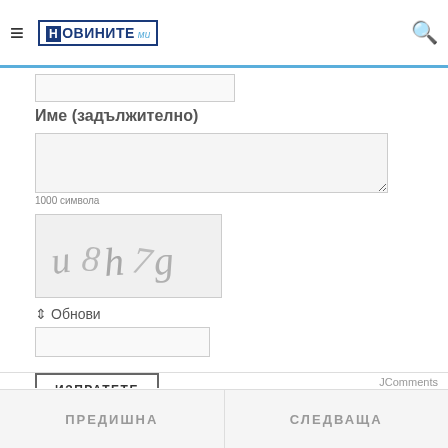[Figure (logo): Новините.ми logo with blue border and red accent, with italic subtitle]
Име (задължително)
1000 символа
[Figure (illustration): CAPTCHA image with distorted handwritten-style text characters in gray]
⇕ Обнови
ИЗПРАТЕТЕ
JComments
ПРЕДИШНА
СЛЕДВАЩА